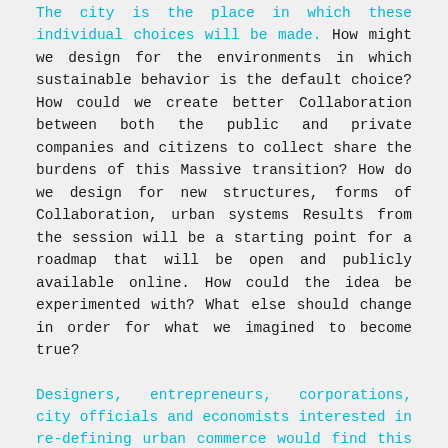The city is the place in which these individual choices will be made. How might we design for the environments in which sustainable behavior is the default choice? How could we create better Collaboration between both the public and private companies and citizens to collect share the burdens of this Massive transition? How do we design for new structures, forms of Collaboration, urban systems Results from the session will be a starting point for a roadmap that will be open and publicly available online. How could the idea be experimented with? What else should change in order for what we imagined to become true?
Designers, entrepreneurs, corporations, city officials and economists interested in re-defining urban commerce would find this session interesting. We are interested